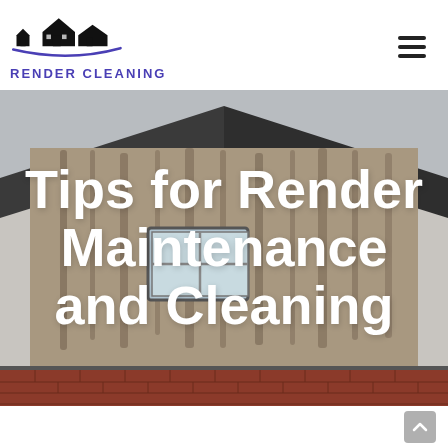RENDER CLEANING
[Figure (photo): A house gable end wall covered in dirty render with dark streaks running vertically, showing algae and weathering stains. A roof window (skylight) is visible mid-wall. Red brick is visible at the base. The image has large white bold text overlay reading 'Tips for Render Maintenance and Cleaning'.]
Tips for Render Maintenance and Cleaning